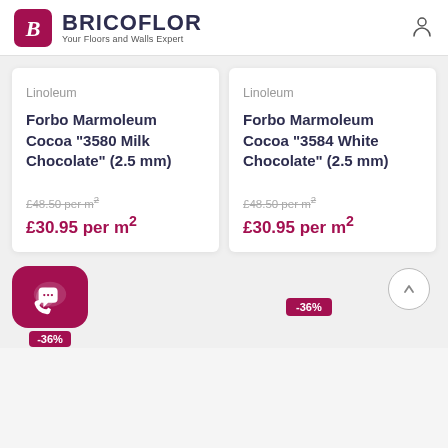BRICOFLOR — Your Floors and Walls Expert
Linoleum
Forbo Marmoleum Cocoa "3580 Milk Chocolate" (2.5 mm)
£48.50 per m²
£30.95 per m²
Linoleum
Forbo Marmoleum Cocoa "3584 White Chocolate" (2.5 mm)
£48.50 per m²
£30.95 per m²
-36%
-36%